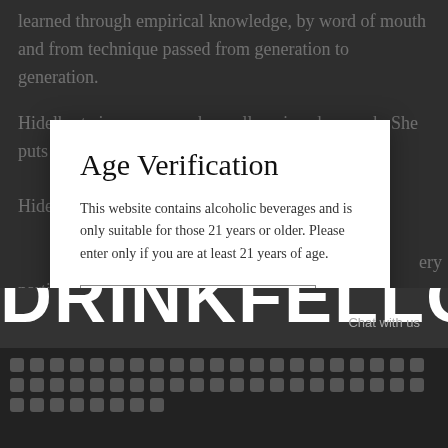learned through empirical knowledge, by word of mouth and from technique passed from generation to generation.
Hidelberta is a woman who really enjoys her work. She puts a lot of...
Age Verification
This website contains alcoholic beverages and is only suitable for those 21 years or older. Please enter only if you are at least 21 years of age.
Enter DrinkFellows to Shop + Learn
Exit
DRINKFELLO
Chat with us